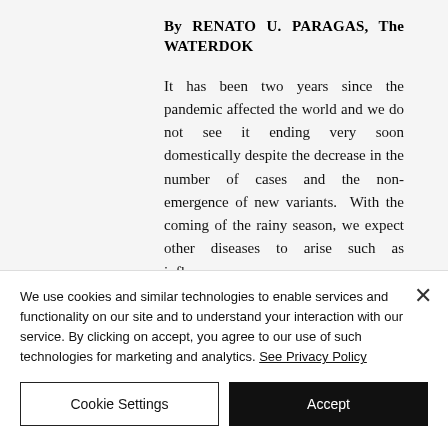By RENATO U. PARAGAS, The WATERDOK
It has been two years since the pandemic affected the world and we do not see it ending very soon domestically despite the decrease in the number of cases and the non-emergence of new variants.  With the coming of the rainy season, we expect other diseases to arise such as influenza,
We use cookies and similar technologies to enable services and functionality on our site and to understand your interaction with our service. By clicking on accept, you agree to our use of such technologies for marketing and analytics. See Privacy Policy